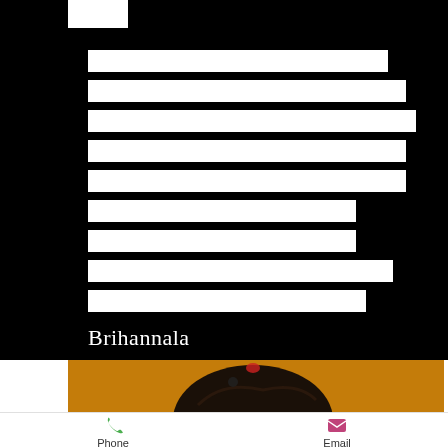[Figure (screenshot): Mobile app contact profile screen. Black background with multiple redacted white bars (personal information blurred out), name 'Brihannala' in white serif text. Below is a photo section with orange/amber background showing top of a person's head with dark hair and a red bindi. Bottom contact bar shows Phone and Email action buttons.]
Brihannala
Phone
Email